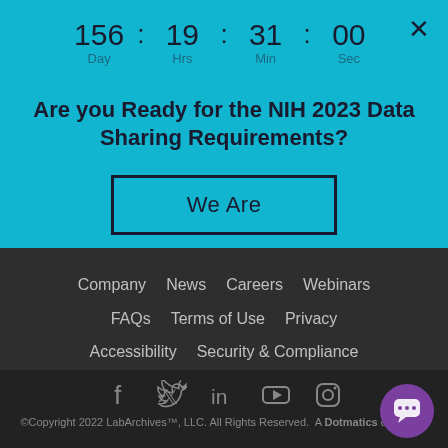156 : 19 : 31 : 00
Day   Hrs  Min  Sec
Are you Ready for the NIH 2023 Data Sharing Requirements?
We Are
Company   News   Careers   Webinars   FAQs   Terms of Use   Privacy   Accessibility   Security & Compliance   User Forum
[Figure (infographic): Social media icons: Facebook, Twitter, LinkedIn, YouTube, Instagram]
©Copyright 2022 LabArchives™, LLC. All Rights Reserved. A Dotmatics company.